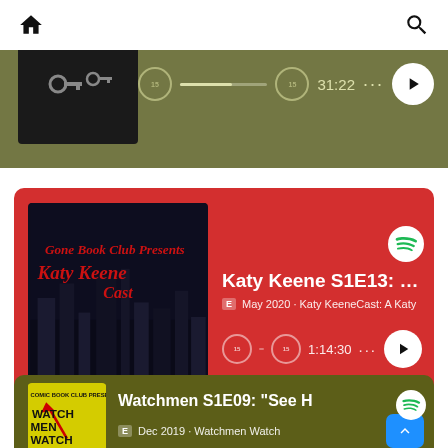[Figure (screenshot): Spotify app navigation bar with home icon on left and search icon on right]
[Figure (screenshot): Partial podcast card with olive/dark green background showing podcast artwork with keys, skip controls, progress bar, time 31:22, dots menu, and play button]
[Figure (screenshot): Spotify podcast card with red background showing Katy Keene Cast artwork, Spotify logo, title 'Katy Keene S1E13: Chap...', E badge, 'May 2020 · Katy KeeneCast: A Katy...', skip controls, progress bar, time 1:14:30, dots menu, and play button]
Katy Keene S1E13: “Chap
May 2020 · Katy KeeneCast: A Katy
[Figure (screenshot): Spotify podcast card with olive/dark green background showing Watchmen Watch artwork on yellow background, Spotify logo, title 'Watchmen S1E09: See H...', E badge, 'Dec 2019 · Watchmen Watch', back-to-top button, time 54:47, dots menu, partial play button]
Watchmen S1E09: “See H
Dec 2019 · Watchmen Watch